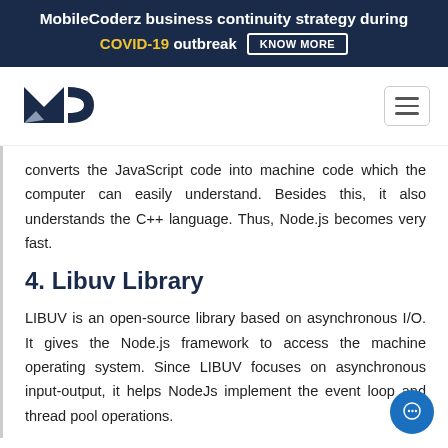MobileCoderz business continuity strategy during COVID-19 outbreak KNOW MORE
[Figure (logo): MobileCoderz logo with MC initials in dark navy blue]
converts the JavaScript code into machine code which the computer can easily understand. Besides this, it also understands the C++ language. Thus, Node.js becomes very fast.
4. Libuv Library
LIBUV is an open-source library based on asynchronous I/O. It gives the Node.js framework to access the machine operating system. Since LIBUV focuses on asynchronous input-output, it helps NodeJs implement the event loop and thread pool operations.